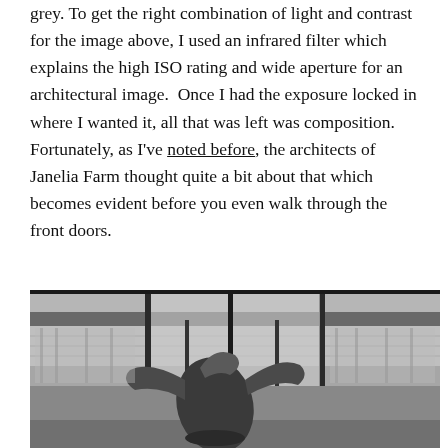grey. To get the right combination of light and contrast for the image above, I used an infrared filter which explains the high ISO rating and wide aperture for an architectural image.  Once I had the exposure locked in where I wanted it, all that was left was composition.  Fortunately, as I've noted before, the architects of Janelia Farm thought quite a bit about that which becomes evident before you even walk through the front doors.
[Figure (photo): Black and white photograph of a modern glass building entrance with a revolving door. In the foreground is a large abstract bronze sculpture with curved, sweeping organic forms. The scene is rendered in high-contrast infrared-style black and white photography.]